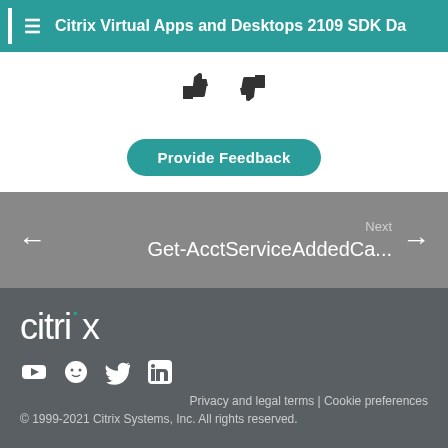Citrix Virtual Apps and Desktops 2109 SDK Da...
[Figure (screenshot): Thumbs up and thumbs down icons for feedback rating]
Provide Feedback
Next
Get-AccctServiceAddedCa...
[Figure (logo): Citrix logo in white text on dark background]
[Figure (screenshot): Social media icons: YouTube, GitHub, Twitter, LinkedIn]
Privacy and legal terms | Cookie preferences
© 1999-2021 Citrix Systems, Inc. All rights reserved.